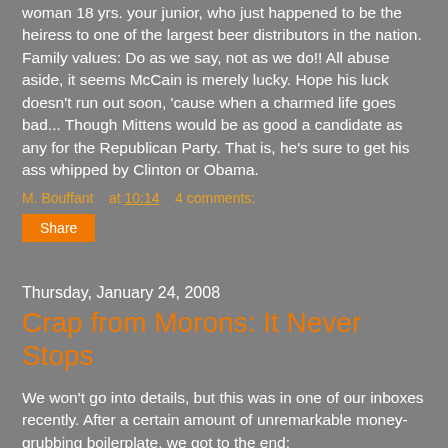woman 18 yrs. your junior, who just happened to be the heiress to one of the largest beer distributors in the nation. Family values: Do as we say, not as we do!! All abuse aside, it seems McCain is merely lucky. Hope his luck doesn't run out soon, 'cause when a charmed life goes bad... Though Mittens would be as good a candidate as any for the Republican Party. That is, he's sure to get his ass whipped by Clinton or Obama.
M. Bouffant   at 10:14   4 comments:
Share
Thursday, January 24, 2008
Crap from Morons: It Never Stops
We won't go into details, but this was in one of our inboxes recently. After a certain amount of unremarkable money-grubbing boilerplate, we got to the end:
Sincerely, Linda Boyd Chairman Republican Party of Los Angeles County P.S. We hope...